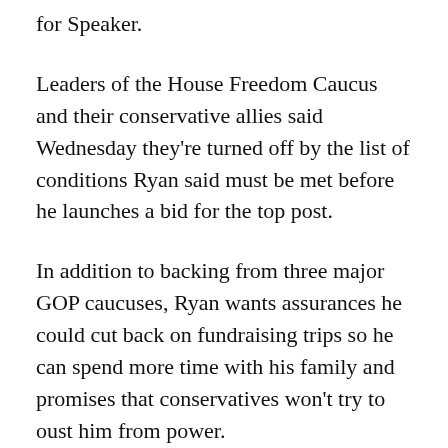for Speaker.
Leaders of the House Freedom Caucus and their conservative allies said Wednesday they’re turned off by the list of conditions Ryan said must be met before he launches a bid for the top post.
In addition to backing from three major GOP caucuses, Ryan wants assurances he could cut back on fundraising trips so he can spend more time with his family and promises that conservatives won’t try to oust him from power.
“It’s like interviewing a maid for a job and she